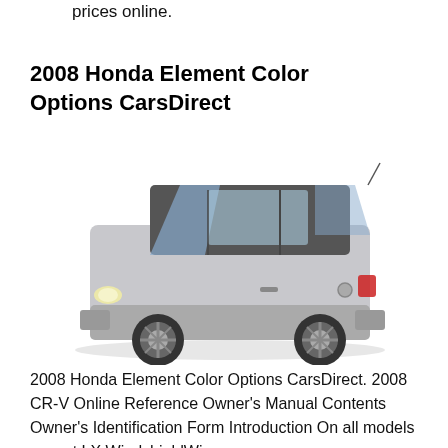prices online.
2008 Honda Element Color Options CarsDirect
[Figure (photo): Side profile photo of a silver 2008 Honda Element SUV on a white background]
2008 Honda Element Color Options CarsDirect. 2008 CR-V Online Reference Owner's Manual Contents Owner's Identification Form Introduction On all models except LX WindshieldWiper WindshieldWasher HI O INT OFF MIST